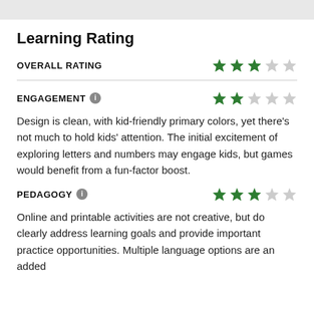Learning Rating
OVERALL RATING
ENGAGEMENT
Design is clean, with kid-friendly primary colors, yet there's not much to hold kids' attention. The initial excitement of exploring letters and numbers may engage kids, but games would benefit from a fun-factor boost.
PEDAGOGY
Online and printable activities are not creative, but do clearly address learning goals and provide important practice opportunities. Multiple language options are an added